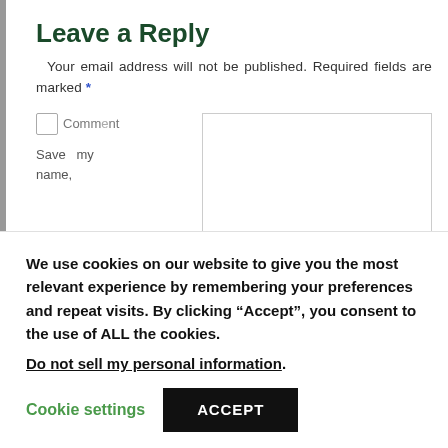Leave a Reply
Your email address will not be published. Required fields are marked *
[Figure (screenshot): Web comment form with a checkbox icon, 'Comment' label, 'Save my name,' text, and a large textarea input box]
We use cookies on our website to give you the most relevant experience by remembering your preferences and repeat visits. By clicking “Accept”, you consent to the use of ALL the cookies.
Do not sell my personal information.
Cookie settings  ACCEPT